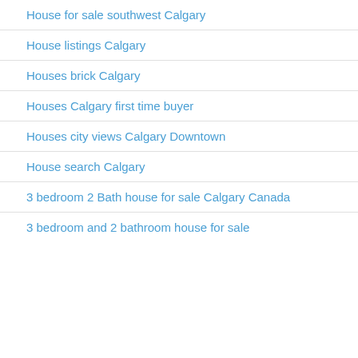House for sale southwest Calgary
House listings Calgary
Houses brick Calgary
Houses Calgary first time buyer
Houses city views Calgary Downtown
House search Calgary
3 bedroom 2 Bath house for sale Calgary Canada
3 bedroom and 2 bathroom house for sale